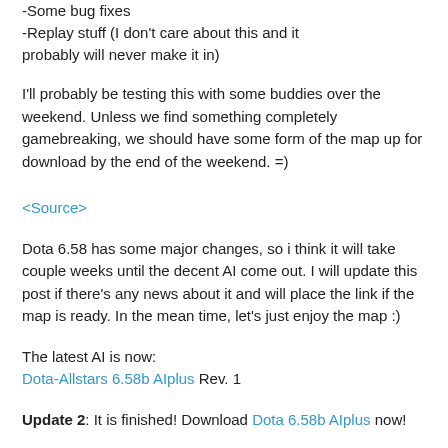-Some bug fixes
-Replay stuff (I don't care about this and it probably will never make it in)
I'll probably be testing this with some buddies over the weekend. Unless we find something completely gamebreaking, we should have some form of the map up for download by the end of the weekend. =)
<Source>
Dota 6.58 has some major changes, so i think it will take couple weeks until the decent AI come out. I will update this post if there's any news about it and will place the link if the map is ready. In the mean time, let's just enjoy the map :)
The latest AI is now:
Dota-Allstars 6.58b AIplus Rev. 1
Update 2: It is finished! Download Dota 6.58b AIplus now!